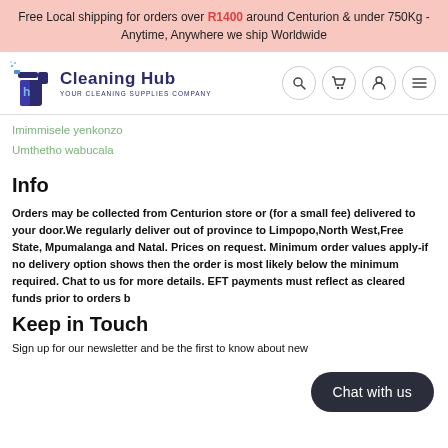Free Local shipping for orders over R1400 around Centurion & under 750Kg - Anytime, Anywhere we ship Worldwide
[Figure (logo): Cleaning Hub logo with spray bottle icon and text 'Cleaning Hub - YOUR CLEANING SUPPLIES COMPANY']
Imimmisele yenkonzo
Umthetho wabucala
Info
Orders may be collected from Centurion store or (for a small fee) delivered to your door.We regularly deliver out of province to Limpopo,North West,Free State, Mpumalanga and Natal. Prices on request. Minimum order values apply-if no delivery option shows then the order is most likely below the minimum required. Chat to us for more details. EFT payments must reflect as cleared funds prior to orders b
Keep in Touch
Sign up for our newsletter and be the first to know about new